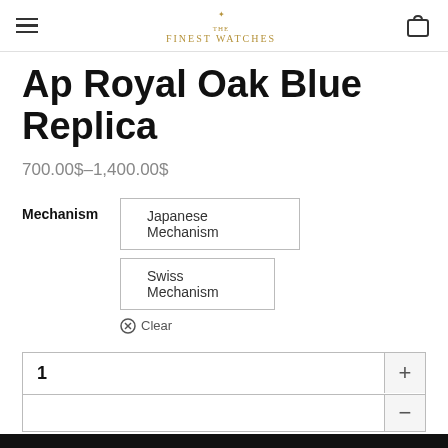THE FINEST WATCHES
Ap Royal Oak Blue Replica
700.00$–1,400.00$
Mechanism  Japanese Mechanism  Swiss Mechanism  ⊗ Clear
1  +  −